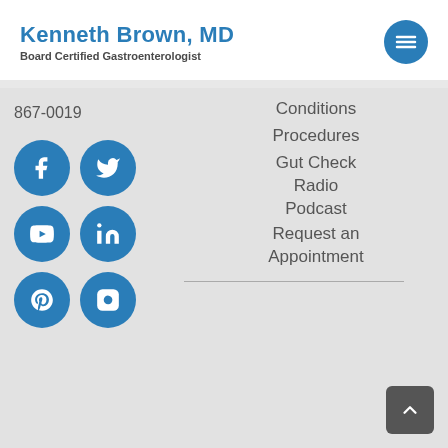Kenneth Brown, MD
Board Certified Gastroenterologist
867-0019
[Figure (infographic): Social media icon buttons in a 2x3 grid: Facebook, Twitter, YouTube, LinkedIn, Pinterest, Instagram — all blue circles with white icons]
Conditions
Procedures
Gut Check Radio Podcast
Request an Appointment